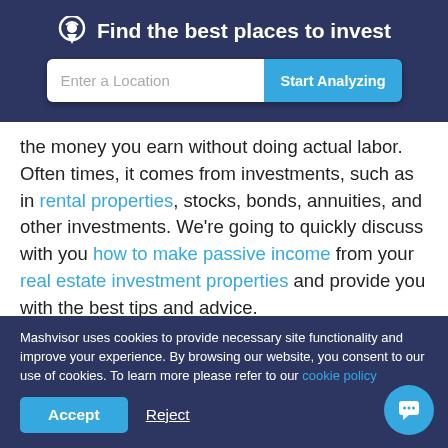Find the best places to invest
the money you earn without doing actual labor. Often times, it comes from investments, such as in rental properties, stocks, bonds, annuities, and other investments. We're going to quickly discuss with you how to make passive income from your real estate investment properties and provide you with the best tips and advice.
The investment world has changed regarding real estate
Mashvisor uses cookies to provide necessary site functionality and improve your experience. By browsing our website, you consent to our use of cookies. To learn more please refer to our cookie policy